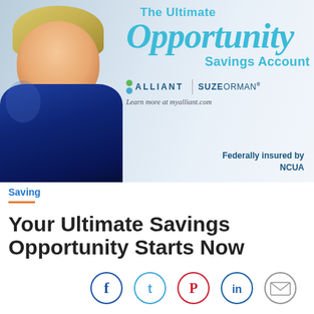[Figure (photo): Advertisement banner for Alliant Credit Union and Suze Orman's 'The Ultimate Opportunity Savings Account'. Shows a smiling blonde woman in blue jacket on left, with teal script text 'The Ultimate Opportunity Savings Account', Alliant and Suze Orman logos, learn more at myalliant.com, and 'Federally insured by NCUA' at bottom right.]
Saving
Your Ultimate Savings Opportunity Starts Now
[Figure (infographic): Social sharing icons row: Facebook (blue circle), Twitter (light blue circle), Pinterest (red circle), LinkedIn (blue circle), Email/envelope (gray circle)]